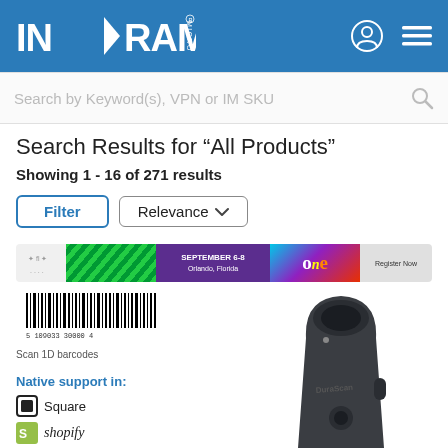[Figure (logo): Ingram Micro logo in white on blue header background]
Search by Keyword(s), VPN or IM SKU
Search Results for “All Products”
Showing 1 - 16 of 271 results
[Figure (screenshot): Filter button and Relevance dropdown controls]
[Figure (photo): Promotional banner with green chevron pattern, purple section with event details (September 6-8, Orlando, Florida), colorful face image, and Register Now button]
[Figure (photo): Product image showing a barcode scanner device. Left side shows a 1D barcode sample labeled 'Scan 1D barcodes', and native support logos: Square, Shopify, SHOPKEEP. Right side shows a dark grey handheld barcode scanner in a stand.]